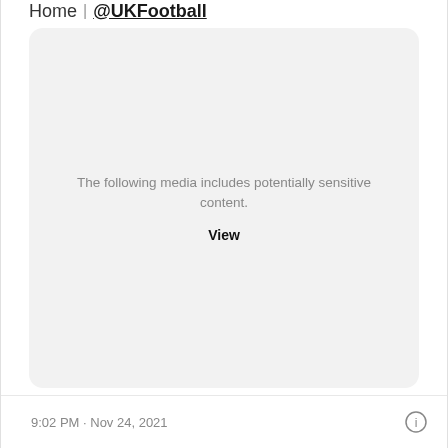Home | @UKFootball
[Figure (screenshot): A gray rounded rectangle card showing sensitive media warning: 'The following media includes potentially sensitive content.' with a 'View' link below.]
The following media includes potentially sensitive content.
View
9:02 PM · Nov 24, 2021